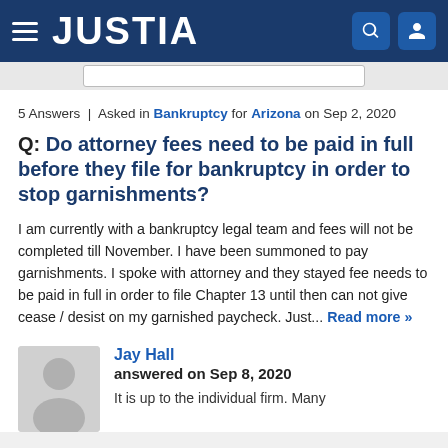JUSTIA
5 Answers | Asked in Bankruptcy for Arizona on Sep 2, 2020
Q: Do attorney fees need to be paid in full before they file for bankruptcy in order to stop garnishments?
I am currently with a bankruptcy legal team and fees will not be completed till November. I have been summoned to pay garnishments. I spoke with attorney and they stayed fee needs to be paid in full in order to file Chapter 13 until then can not give cease / desist on my garnished paycheck. Just... Read more »
Jay Hall
answered on Sep 8, 2020
It is up to the individual firm. Many